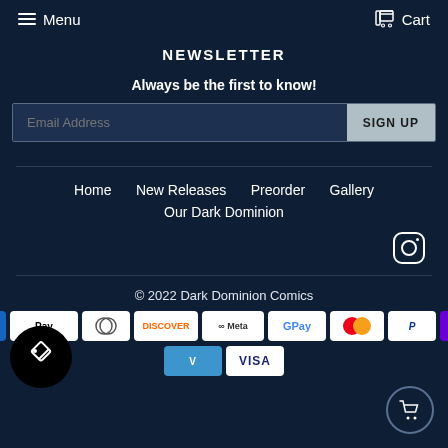Menu  Cart
NEWSLETTER
Always be the first to know!
Email Address  SIGN UP
Home
New Releases
Preorder
Gallery
Our Dark Dominion
[Figure (logo): Instagram icon]
© 2022 Dark Dominion Comics
[Figure (other): Payment method icons: Apple Pay, Diners, Discover, Meta Pay, Google Pay, Mastercard, PayPal, Shop Pay, Venmo, Visa]